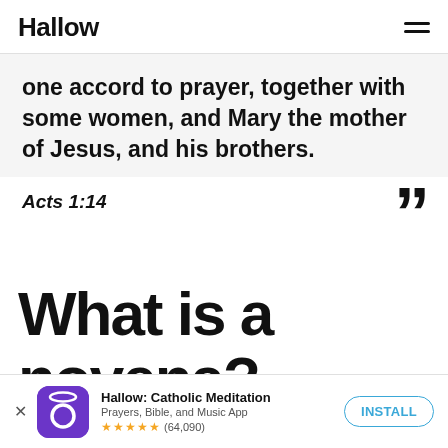Hallow
one accord to prayer, together with some women, and Mary the mother of Jesus, and his brothers.
Acts 1:14
What is a novena?
[Figure (screenshot): App install banner for Hallow: Catholic Meditation — Prayers, Bible, and Music App, rated 4.5 stars with 64,090 reviews, with an INSTALL button.]